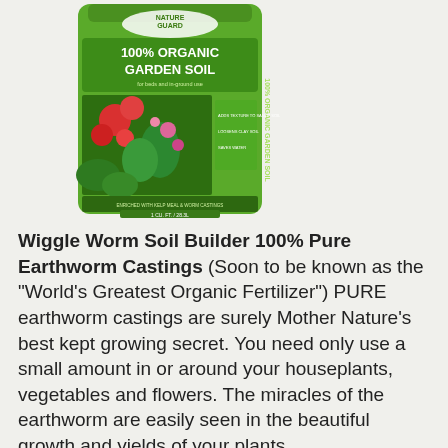[Figure (photo): A bag of Nature Guard 100% Organic Garden Soil product with green packaging showing vegetables and flowers]
Wiggle Worm Soil Builder 100% Pure Earthworm Castings (Soon to be known as the "World's Greatest Organic Fertilizer") PURE earthworm castings are surely Mother Nature's best kept growing secret. You need only use a small amount in or around your houseplants, vegetables and flowers. The miracles of the earthworm are easily seen in the beautiful growth and yields of your plants.
Seeing is believing!! Try some today and join the farmers...